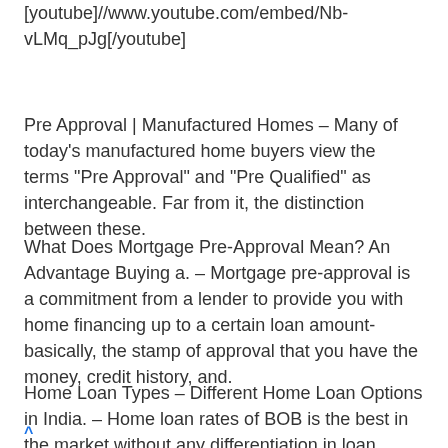[youtube]//www.youtube.com/embed/Nb-vLMq_pJg[/youtube]
Pre Approval | Manufactured Homes – Many of today's manufactured home buyers view the terms "Pre Approval" and "Pre Qualified" as interchangeable. Far from it, the distinction between these.
What Does Mortgage Pre-Approval Mean? An Advantage Buying a. – Mortgage pre-approval is a commitment from a lender to provide you with home financing up to a certain loan amount-basically, the stamp of approval that you have the money, credit history, and.
Home Loan Types – Different Home Loan Options in India. – Home loan rates of BOB is the best in the market without any differentiation in loan amount or